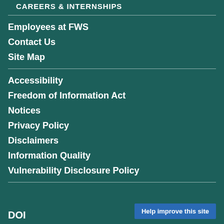CAREERS & INTERNSHIPS
Employees at FWS
Contact Us
Site Map
Accessibility
Freedom of Information Act
Notices
Privacy Policy
Disclaimers
Information Quality
Vulnerability Disclosure Policy
DOI
Help improve this site